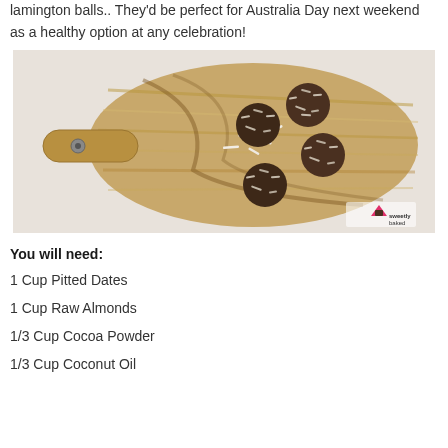lamington balls.. They'd be perfect for Australia Day next weekend as a healthy option at any celebration!
[Figure (photo): Four chocolate coconut lamington balls on a round wooden paddle cutting board, viewed from above. A small watermark logo in the bottom right reads 'sweetly baked'.]
You will need:
1 Cup Pitted Dates
1 Cup Raw Almonds
1/3 Cup Cocoa Powder
1/3 Cup Coconut Oil